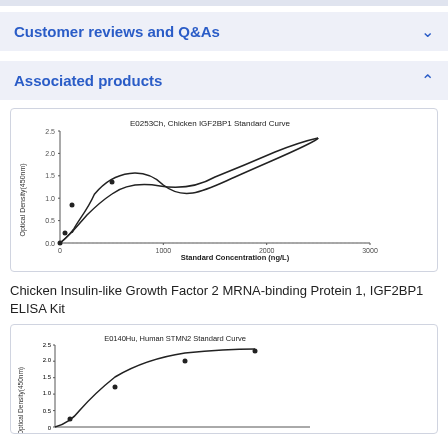Customer reviews and Q&As
Associated products
[Figure (continuous-plot): Sigmoid standard curve for Chicken IGF2BP1 ELISA kit. X-axis: Standard Concentration (ng/L) from 0 to 3000. Y-axis: Optical Density (450nm) from 0 to 2.5. Data points rise from ~0 at 0 ng/L to ~2.2 at 2500 ng/L following a sigmoidal curve.]
Chicken Insulin-like Growth Factor 2 MRNA-binding Protein 1, IGF2BP1 ELISA Kit
[Figure (continuous-plot): Sigmoid standard curve for Human STMN2 ELISA kit. X-axis: Standard Concentration (ng/L). Y-axis: Optical Density (450nm) from 0 to 2.5. Shows rising sigmoidal curve.]